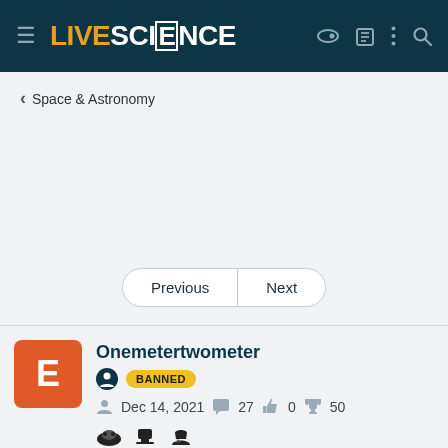LIVE SCIENCE
< Space & Astronomy
[Figure (other): Pagination buttons: Previous | Next]
Onemetertwometer
BANNED
Dec 14, 2021   27   0   50